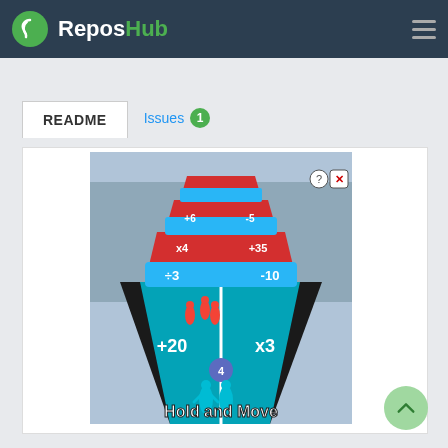ReposHub
README  Issues 1
[Figure (screenshot): Mobile game screenshot showing 'Hold and Move' game with colored figures on a road, math operators (+20, x3, ÷3, -10, x4, +35, +6, -5) on lanes, background of winter trees]